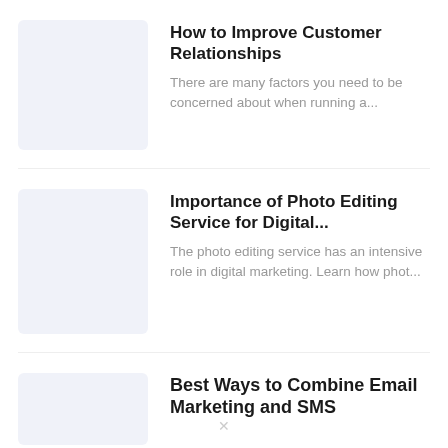How to Improve Customer Relationships
There are many factors you need to be concerned about when running a...
Importance of Photo Editing Service for Digital...
The photo editing service has an intensive role in digital marketing. Learn how phot...
Best Ways to Combine Email Marketing and SMS